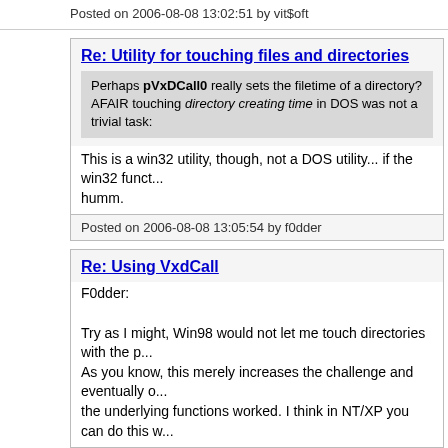Posted on 2006-08-08 13:02:51 by vit$oft
Re: Utility for touching files and directories
Perhaps pVxDCall0 really sets the filetime of a directory?
AFAIR touching directory creating time in DOS was not a trivial task:
This is a win32 utility, though, not a DOS utility... if the win32 funct... humm.
Posted on 2006-08-08 13:05:54 by f0dder
Re: Using VxdCall
F0dder:
Try as I might, Win98 would not let me touch directories with the p...
As you know, this merely increases the challenge and eventually ...
the underlying functions worked. I think in NT/XP you can do this w...
Posted on 2006-08-08 14:10:40 by davk
Re: Utility for touching files and directories
davk, interesting - didn't know it had a problem like that. Was it ar...